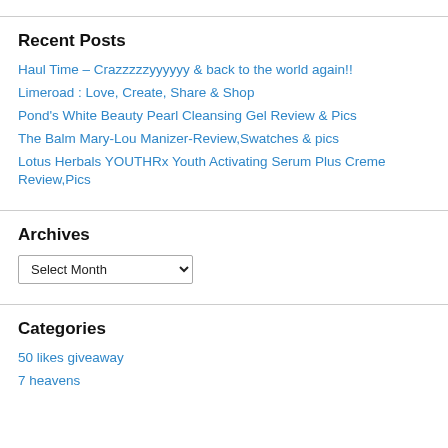Recent Posts
Haul Time – Crazzzzzyyyyyy & back to the world again!!
Limeroad : Love, Create, Share & Shop
Pond's White Beauty Pearl Cleansing Gel Review & Pics
The Balm Mary-Lou Manizer-Review,Swatches & pics
Lotus Herbals YOUTHRx Youth Activating Serum Plus Creme Review,Pics
Archives
Select Month
Categories
50 likes giveaway
7 heavens